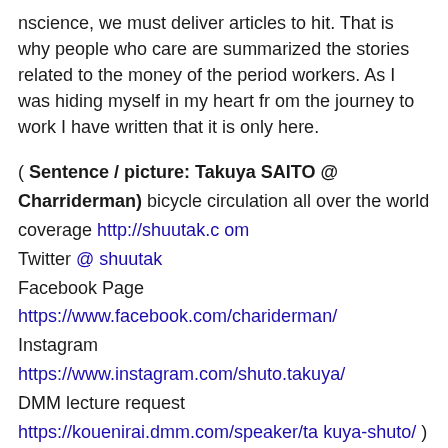nscience, we must deliver articles to hit. That is why people who care are summarized the stories related to the money of the period workers. As I was hiding myself in my heart from the journey to work I have written that it is only here.
( Sentence / picture: Takuya SAITO @ Charriderman) bicycle circulation all over the world coverage http://shuutak.com
Twitter @ shuutak
Facebook Page https://www.facebook.com/chariderman/
Instagram https://www.instagram.com/shuto.takuya/
DMM lecture request https://kouenirai.dmm.com/speaker/takuya-shuto/ )